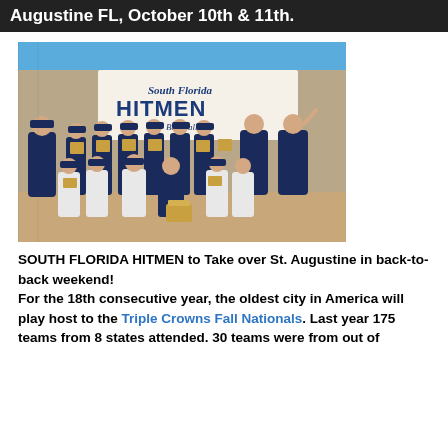Augustine FL, October 10th & 11th.
[Figure (photo): South Florida Hitmen baseball team group photo holding trophies/plaques in front of a 'South Florida Hitmen Baseball' banner on a baseball field]
SOUTH FLORIDA HITMEN to Take over St. Augustine in back-to-back weekend! For the 18th consecutive year, the oldest city in America will play host to the Triple Crowns Fall Nationals. Last year 175 teams from 8 states attended. 30 teams were from out of